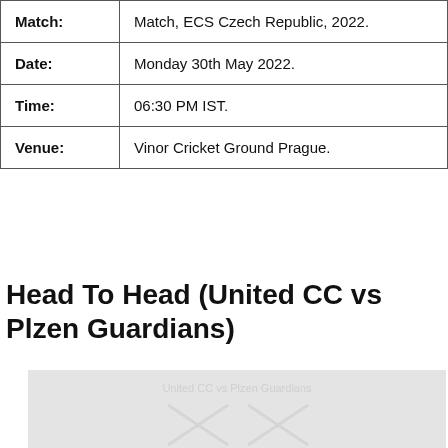| Match: | Match, ECS Czech Republic, 2022. |
| Date: | Monday 30th May 2022. |
| Time: | 06:30 PM IST. |
| Venue: | Vinor Cricket Ground Prague. |
Head To Head (United CC vs Plzen Guardians)
[Figure (photo): Partially visible image related to United CC vs Plzen Guardians head-to-head, showing a watermarked/blurred graphic with X marks overlaid]